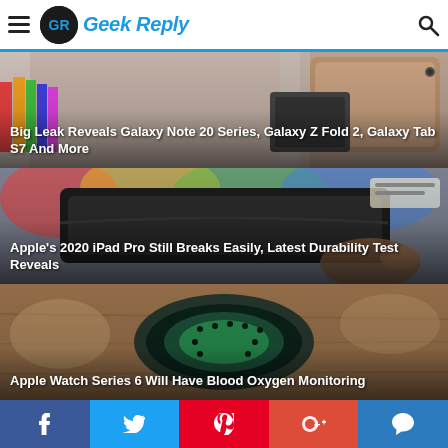Geek Reply
[Figure (photo): Samsung Galaxy Tab S7 and other Samsung devices on a table - featured image for Galaxy Note 20 leak article]
Big Leak Reveals Galaxy Note 20 Series, Galaxy Z Fold 2, Galaxy Tab S7 And More
[Figure (photo): Person holding a black iPad Pro case being bent - featured image for iPad Pro durability test article]
Apple's 2020 iPad Pro Still Breaks Easily, Latest Durability Test Reveals
[Figure (photo): Apple Watch with green band on a wooden surface - featured image for Apple Watch Series 6 article]
Apple Watch Series 6 Will Have Blood Oxygen Monitoring